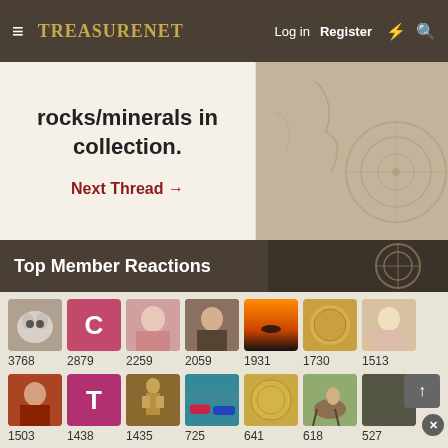TreasureNet — Log in   Register
rocks/minerals in collection.
Next Thread →
Top Member Reactions
[Figure (infographic): Grid of member avatar thumbnails with reaction counts: 3768, 2879, 2259, 2059, 1931, 1730, 1513, 1503, 1438, 1435, 725, 641, 618, 527, 502, 441, 421, 411, 404, 392]